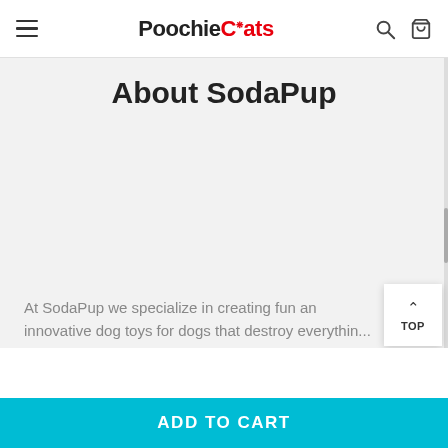PoochieCats
About SodaPup
At SodaPup we specialize in creating fun and innovative dog toys for dogs that destroy everything...